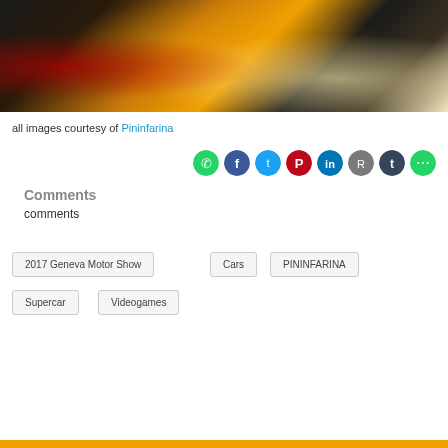[Figure (photo): Rear view of a yellow supercar (Pininfarina) with red tail lights glowing on a dark wet surface, dramatic lighting]
all images courtesy of Pininfarina
[Figure (infographic): Social share buttons row: WhatsApp (green), Facebook (blue), Twitter (cyan), Pinterest (red), LinkedIn (blue), Reddit (grey), Tumblr (dark grey), More (green)]
Comments
comments
2017 Geneva Motor Show
Cars
PININFARINA
Supercar
Videogames